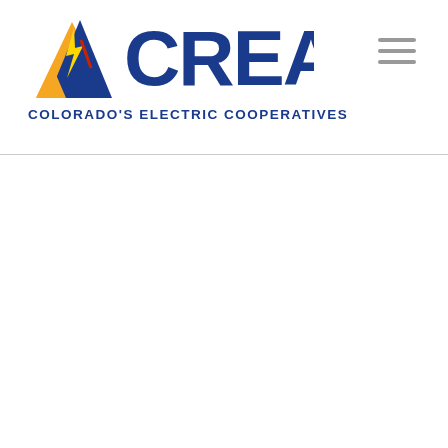[Figure (logo): CREA Colorado's Electric Cooperatives logo with mountain and lightning bolt graphic and large CREA text in blue]
COLORADO'S ELECTRIC COOPERATIVES